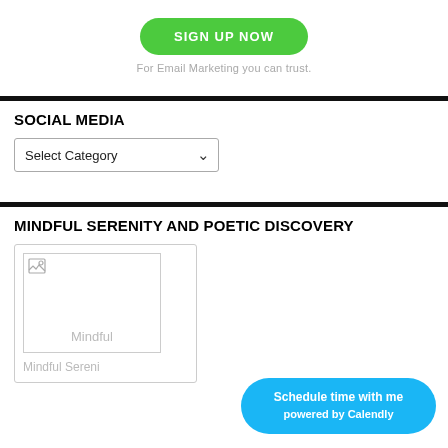[Figure (other): Green rounded rectangle button with bold white uppercase text 'SIGN UP NOW']
For Email Marketing you can trust.
SOCIAL MEDIA
[Figure (other): Dropdown selector UI element with text 'Select Category' and a downward chevron arrow]
MINDFUL SERENITY AND POETIC DISCOVERY
[Figure (other): Card with broken image placeholder showing 'Mindful' text and card title 'Mindful Sereni' at the bottom]
[Figure (other): Blue rounded rectangle button with bold white text 'Schedule time with me powered by Calendly']